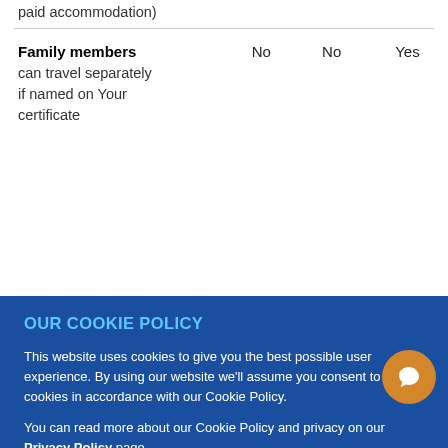paid accommodation)
|  | No | No | Yes |
| --- | --- | --- | --- |
| Family members | No | No | Yes |
| can travel separately if named on Your certificate |  |  |  |
OUR COOKIE POLICY

This website uses cookies to give you the best possible user experience. By using our website we'll assume you consent to all cookies in accordance with our Cookie Policy.

You can read more about our Cookie Policy and privacy on our Privacy Policy page.

OKAY. GOT IT